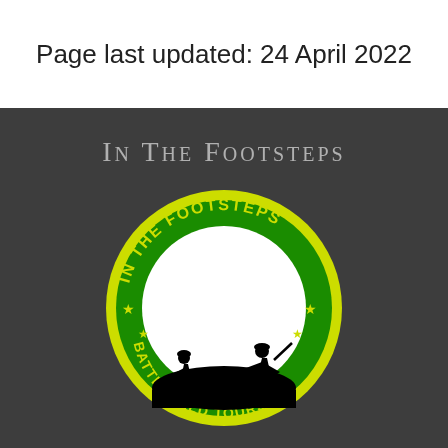Page last updated: 24 April 2022
In The Footsteps
[Figure (logo): Circular logo for 'In The Footsteps Battlefield Tours'. Green and yellow circular badge with text 'IN THE FOOTSTEPS' on top arc and 'BATTLEFIELD TOURS' on bottom arc, with yellow stars. Center shows white circle with black silhouettes of three WWI soldiers in combat poses on a hilltop.]